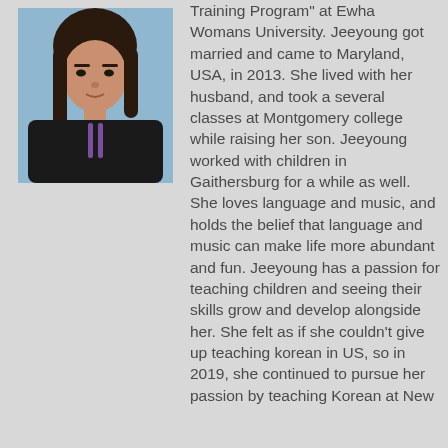[Figure (photo): Headshot photo of Jeeyoung, a woman with long dark hair wearing a dark top with a lanyard, against a light blue background]
Training Program" at Ewha Womans University. Jeeyoung got married and came to Maryland, USA, in 2013. She lived with her husband, and took a several classes at Montgomery college while raising her son. Jeeyoung worked with children in Gaithersburg for a while as well. She loves language and music, and holds the belief that language and music can make life more abundant and fun. Jeeyoung has a passion for teaching children and seeing their skills grow and develop alongside her. She felt as if she couldn’t give up teaching korean in US, so in 2019, she continued to pursue her passion by teaching Korean at New